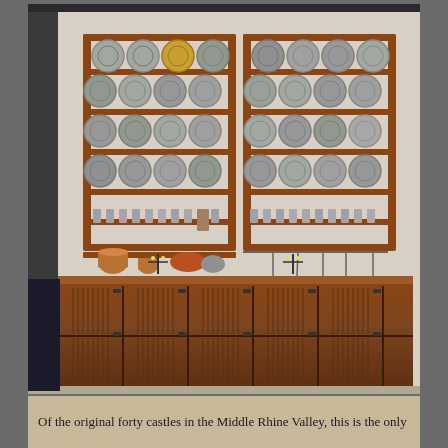[Figure (photo): Interior photograph showing a large wooden plate rack mounted on a white wall, filled with rows of pewter plates and dishes. Below the rack hang copper and brass kitchen utensils including ladles. On a shelf below the rack sit copper pots and decorative molds. In the foreground is a large dark wooden sideboard/credenza with paneled doors and iron hardware. Two iron candlestick holders sit on top of the sideboard.]
Of the original forty castles in the Middle Rhine Valley, this is the only